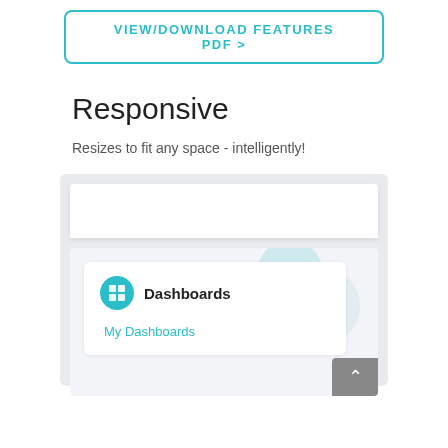VIEW/DOWNLOAD FEATURES PDF >
Responsive
Resizes to fit any space - intelligently!
[Figure (screenshot): A UI screenshot showing a dashboard interface with a top white bar, a grey background body containing a white card with a teal circle icon and 'Dashboards' title, 'My Dashboards' link in teal, a decorative blob shape on the right, and a grey scroll-to-top button in the bottom right corner.]